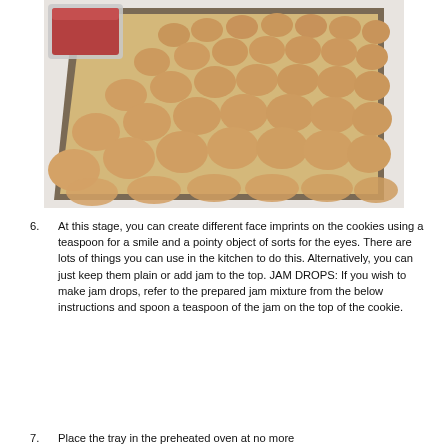[Figure (photo): A baking tray lined with parchment paper holding many round unbaked cookie dough discs arranged in rows. In the top left corner, a glass container with red jam mixture is partially visible on a white surface.]
6. At this stage, you can create different face imprints on the cookies using a teaspoon for a smile and a pointy object of sorts for the eyes. There are lots of things you can use in the kitchen to do this. Alternatively, you can just keep them plain or add jam to the top. JAM DROPS: If you wish to make jam drops, refer to the prepared jam mixture from the below instructions and spoon a teaspoon of the jam on the top of the cookie.
7. Place the tray in the preheated oven at no more